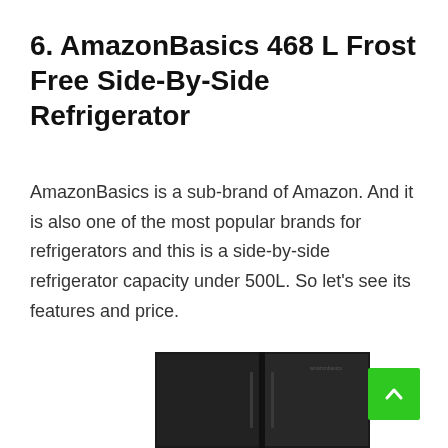6. AmazonBasics 468 L Frost Free Side-By-Side Refrigerator
AmazonBasics is a sub-brand of Amazon. And it is also one of the most popular brands for refrigerators and this is a side-by-side refrigerator capacity under 500L. So let’s see its features and price.
[Figure (photo): A black AmazonBasics side-by-side refrigerator, partially visible, showing the front with the brand logo.]